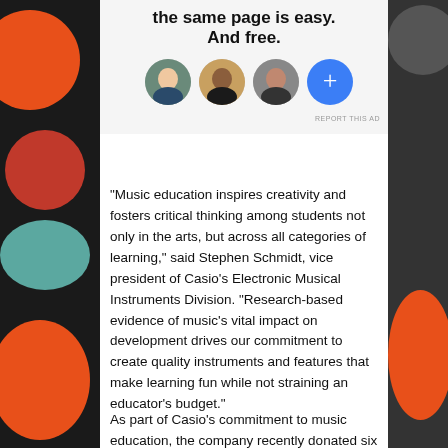[Figure (illustration): Advertisement banner with bold text 'the same page is easy. And free.' and a row of three circular avatar photos plus a blue plus-circle button, on a light grey background.]
“Music education inspires creativity and fosters critical thinking among students not only in the arts, but across all categories of learning,” said Stephen Schmidt, vice president of Casio’s Electronic Musical Instruments Division. “Research-based evidence of music’s vital impact on development drives our commitment to create quality instruments and features that make learning fun while not straining an educator’s budget.”
As part of Casio’s commitment to music education, the company recently donated six Workstation WK-225 digital keyboards to the announced integrated BC-500...